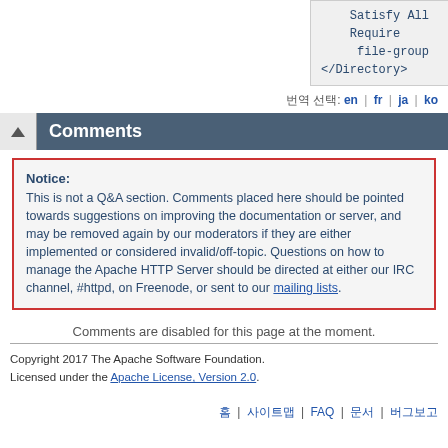[Figure (screenshot): Code block showing Apache config: Satisfy All, Require file-group, </Directory>]
번역 선택: en | fr | ja | ko
Comments
Notice:
This is not a Q&A section. Comments placed here should be pointed towards suggestions on improving the documentation or server, and may be removed again by our moderators if they are either implemented or considered invalid/off-topic. Questions on how to manage the Apache HTTP Server should be directed at either our IRC channel, #httpd, on Freenode, or sent to our mailing lists.
Comments are disabled for this page at the moment.
Copyright 2017 The Apache Software Foundation.
Licensed under the Apache License, Version 2.0.
홈 | 사이트맵 | FAQ | 문서 | 버그보고